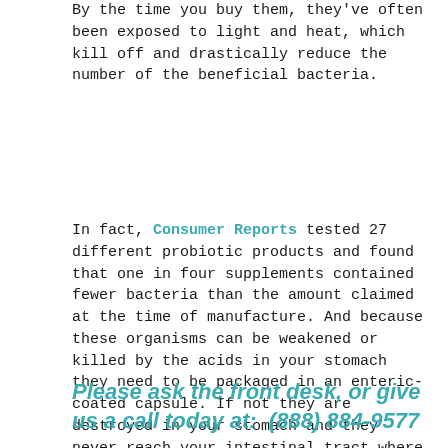By the time you buy them, they've often been exposed to light and heat, which kill off and drastically reduce the number of the beneficial bacteria.
In fact, Consumer Reports tested 27 different probiotic products and found that one in four supplements contained fewer bacteria than the amount claimed at the time of manufacture. And because these organisms can be weakened or killed by the acids in your stomach they need to be packaged in an enteric-coated capsule. If not they are destroyed in your stomach and they never reach your intestinal tract where they are needed to do their job. Worthless!
Please ask the front desk, or give us a call today at:  (888) 884-9577